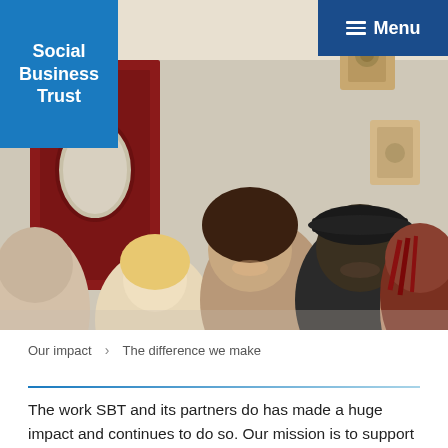Menu
[Figure (photo): Group of smiling young people in a room with a red door and a speaker on the wall, posing close together for the camera.]
Our impact > The difference we make
The work SBT and its partners do has made a huge impact and continues to do so. Our mission is to support high growth potential social enterprises and charities to scale-up their impact.